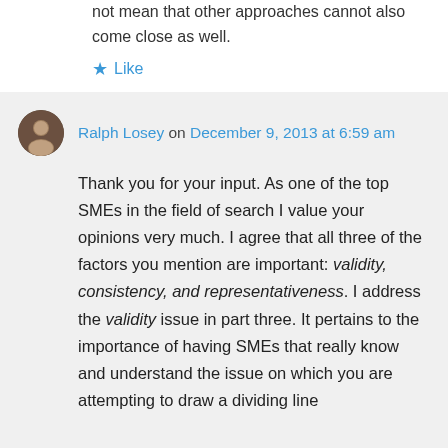not mean that other approaches cannot also come close as well.
Like
Ralph Losey on December 9, 2013 at 6:59 am
Thank you for your input. As one of the top SMEs in the field of search I value your opinions very much. I agree that all three of the factors you mention are important: validity, consistency, and representativeness. I address the validity issue in part three. It pertains to the importance of having SMEs that really know and understand the issue on which you are attempting to draw a dividing line